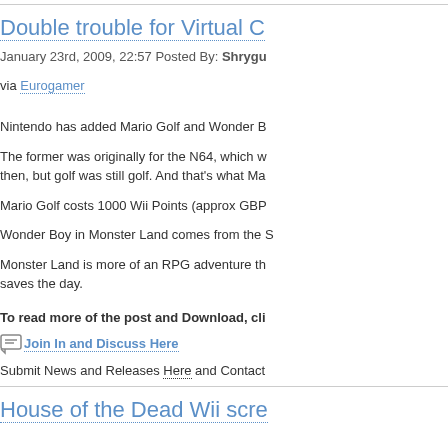Double trouble for Virtual C...
January 23rd, 2009, 22:57 Posted By: Shrygu...
via Eurogamer
Nintendo has added Mario Golf and Wonder B...
The former was originally for the N64, which w... then, but golf was still golf. And that's what Ma...
Mario Golf costs 1000 Wii Points (approx GBP...
Wonder Boy in Monster Land comes from the S...
Monster Land is more of an RPG adventure th... saves the day.
To read more of the post and Download, cli...
Join In and Discuss Here
Submit News and Releases Here and Contact...
House of the Dead Wii scre...